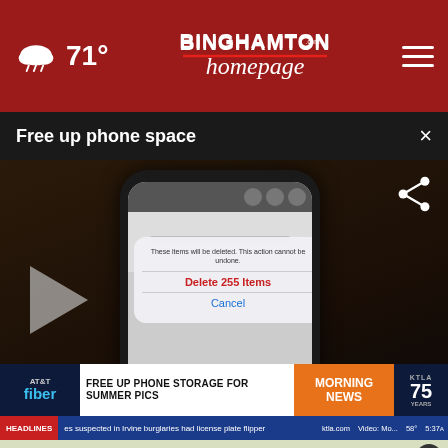71° — Binghamton Homepage — hamburger menu
Free up phone space ×
[Figure (screenshot): Video thumbnail showing a hand holding a smartphone with an iOS delete confirmation dialog showing 'Delete 255 Items' in red and 'Cancel' in blue, with a play button overlay and share icon. An AT&T Fiber advertisement banner reads FREE UP PHONE STORAGE FOR SUMMER PICS with MORNING NEWS and KTLA 75 YEARS branding. Ticker bar reads: HEADLINES | es suspected in Irvine burglaries had license plate flipper | ktla.com | Video: Mo... | 58° | 5:37A]
Family-Style Adult Living
607-625-3659
[Figure (screenshot): Ad Council advertisement with FIND RESOURCES button and VA logo on dark background]